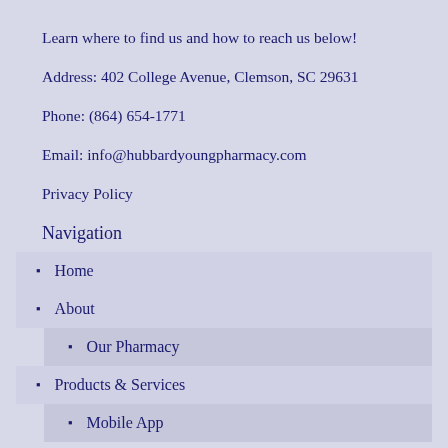Learn where to find us and how to reach us below!
Address: 402 College Avenue, Clemson, SC 29631
Phone: (864) 654-1771
Email: info@hubbardyoungpharmacy.com
Privacy Policy
Navigation
Home
About
Our Pharmacy
Products & Services
Mobile App